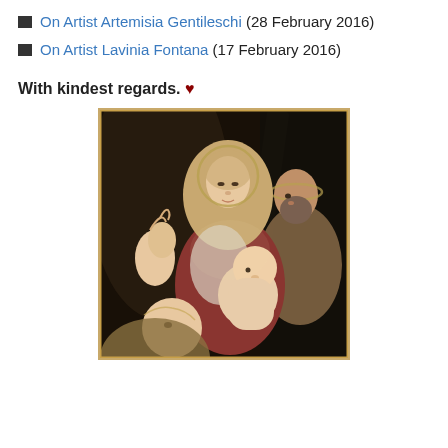On Artist Artemisia Gentileschi (28 February 2016)
On Artist Lavinia Fontana (17 February 2016)
With kindest regards. ♥
[Figure (photo): Renaissance-style oil painting depicting the Holy Family: a central Madonna figure with halo wearing draped robes, an infant Christ child, an elderly bearded man (Joseph) on the right, and a young woman with raised hand in the lower left foreground. Dark dramatic background.]